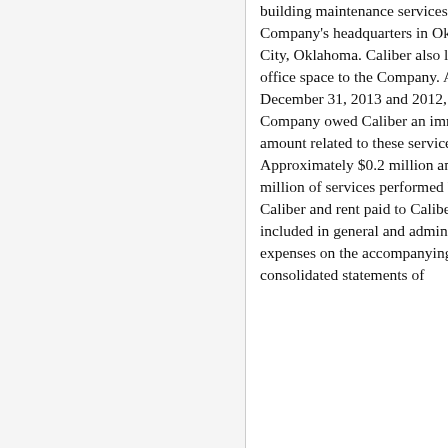building maintenance services for the Company's headquarters in Oklahoma City, Oklahoma. Caliber also leases office space to the Company. At December 31, 2013 and 2012, the Company owed Caliber an immaterial amount related to these services. Approximately $0.2 million and $0.1 million of services performed by Caliber and rent paid to Caliber are included in general and administrative expenses on the accompanying consolidated statements of